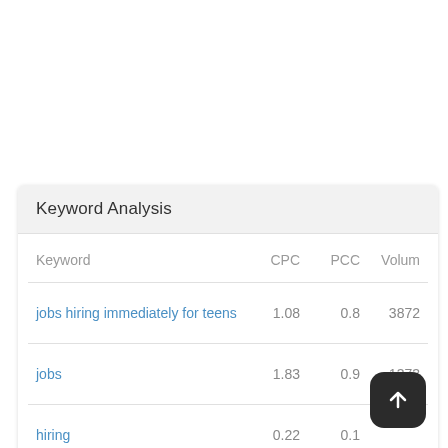Keyword Analysis
| Keyword | CPC | PCC | Volum |
| --- | --- | --- | --- |
| jobs hiring immediately for teens | 1.08 | 0.8 | 3872 |
| jobs | 1.83 | 0.9 | 1373 |
| hiring | 0.22 | 0.1 |  |
| immediately | 0.72 | 0.2 | 8284 |